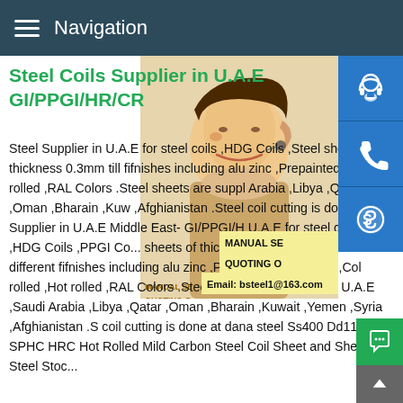Navigation
Steel Coils Supplier in U.A.E GI/PPGI/HR/CR
[Figure (photo): Woman with headset smiling, customer service representative photo]
Steel Supplier in U.A.E for steel coils ,HDG Coils ,Steel sheets of thickness 0.3mm till fifnishes including alu zinc ,Prepainted Mil rolled ,RAL Colors .Steel sheets are suppl Arabia ,Libya ,Qatar ,Oman ,Bharain ,Kuw ,Afghianistan .Steel coil cutting is done at Supplier in U.A.E Middle East- GI/PPGI/H U.A.E for steel coils ,HDG Coils ,PPGI Co sheets of thickness 0.3mm till 3.7 mm and different fifnishes including alu zinc ,Prepainted Mill Finish ,Col rolled ,Hot rolled ,RAL Colors .Steel sheets are supplied in U.A.E ,Saudi Arabia ,Libya ,Qatar ,Oman ,Bharain ,Kuwait ,Yemen ,Syria ,Afghianistan .Steel coil cutting is done at dana steel Ss400 Dd11 SPHC HRC Hot Rolled Mild Carbon Steel Coil Sheet and Sheet Steel Stock